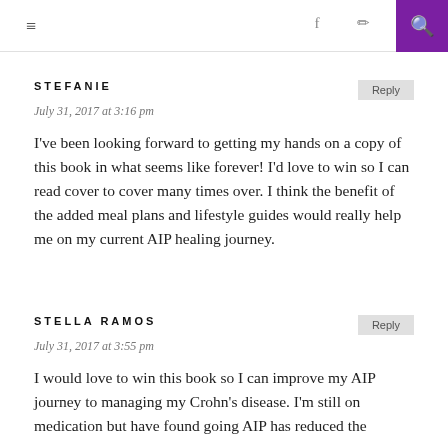≡  f  ⊡  🔍
STEFANIE
July 31, 2017 at 3:16 pm
I've been looking forward to getting my hands on a copy of this book in what seems like forever! I'd love to win so I can read cover to cover many times over. I think the benefit of the added meal plans and lifestyle guides would really help me on my current AIP healing journey.
STELLA RAMOS
July 31, 2017 at 3:55 pm
I would love to win this book so I can improve my AIP journey to managing my Crohn's disease. I'm still on medication but have found going AIP has reduced the